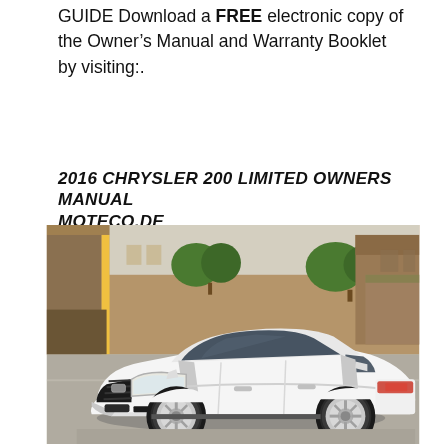GUIDE Download a FREE electronic copy of the Owner's Manual and Warranty Booklet by visiting:.
2016 CHRYSLER 200 LIMITED OWNERS MANUAL MOTECO.DE
[Figure (photo): Photo of a white 2016 Chrysler 200 Limited sedan parked in a parking lot or street, shot from a three-quarter front angle. The car is white with chrome trim, alloy wheels, and a black grille. Background shows a tan/brown building, trees, and a parking structure.]